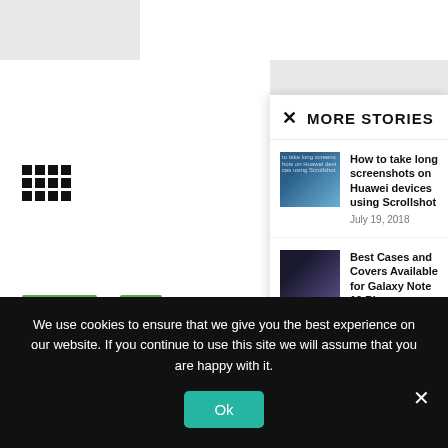MORE STORIES
How to take long screenshots on Huawei devices using Scrollshot
July 19, 2018
Best Cases and Covers Available for Galaxy Note 10 Plus
August 21, 2019
How to Install XXU3CQI8
ARTICLES
List of d...
By Zunair · April 1...
We use cookies to ensure that we give you the best experience on our website. If you continue to use this site we will assume that you are happy with it.
Ok